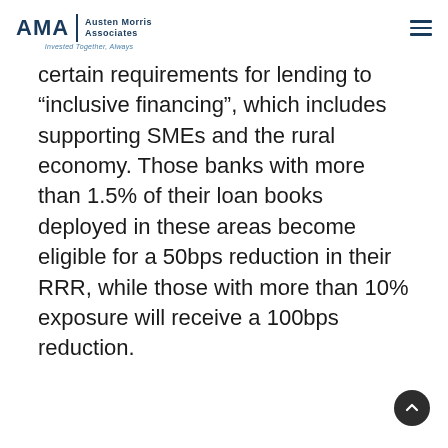AMA | Austen Morris Associates — Invested Together, Always
certain requirements for lending to “inclusive financing”, which includes supporting SMEs and the rural economy. Those banks with more than 1.5% of their loan books deployed in these areas become eligible for a 50bps reduction in their RRR, while those with more than 10% exposure will receive a 100bps reduction.